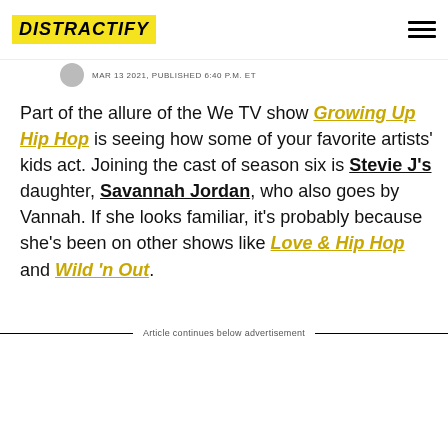DISTRACTIFY
MAR 13 2021, PUBLISHED 6:40 P.M. ET
Part of the allure of the We TV show Growing Up Hip Hop is seeing how some of your favorite artists' kids act. Joining the cast of season six is Stevie J's daughter, Savannah Jordan, who also goes by Vannah. If she looks familiar, it's probably because she's been on other shows like Love & Hip Hop and Wild 'n Out.
Article continues below advertisement